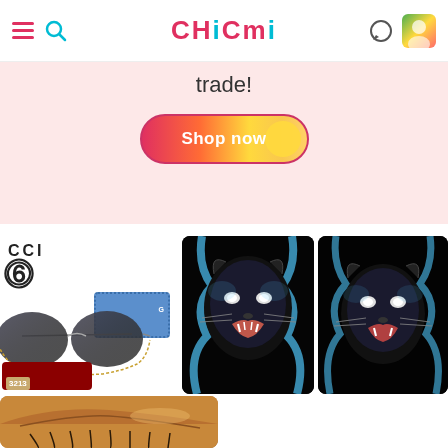CHICMI navigation bar with hamburger menu, search, logo CHICMI, chat and profile icons
trade!
[Figure (illustration): Colorful 'Shop now' button with gradient from red to orange to yellow, circular yellow element on right side, rounded border]
[Figure (photo): Gucci sunglasses product photo showing oversized round sunglasses with gold chain, dark gradient lenses, blue dotted Gucci case, red velvet pouch, Gucci logo and G symbol, price tag showing 3213]
[Figure (illustration): Dark illustration of a snarling black panther with blue lightning/energy around it on black background]
[Figure (illustration): Dark illustration of a snarling black panther with blue lightning/energy around it on black background, slightly different crop]
[Figure (photo): Close-up photo of a person's eye with eyelashes, warm golden/brown tones, partially visible at bottom of page]